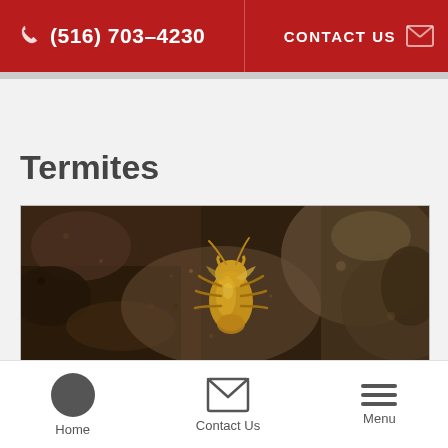(516) 703-4230  CONTACT US
Termites
[Figure (photo): Close-up macro photograph of a termite insect on dark soil and dirt, showing yellowish-brown body and small appendages]
Home  Contact Us  Menu